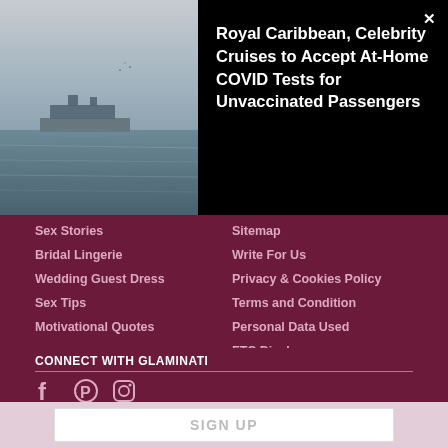[Figure (photo): Aerial view of a cruise ship on calm grey water, misty/hazy seascape]
Royal Caribbean, Celebrity Cruises to Accept At-Home COVID Tests for Unvaccinated Passengers
Sex Stories
Bridal Lingerie
Wedding Guest Dress
Sex Tips
Motivational Quotes
Sitemap
Write For Us
Privacy & Cookies Policy
Terms and Condition
Personal Data Used
FTC Disclosure
CONNECT WITH GLAMINATI
[Figure (other): Social media icons: Facebook, Pinterest, Instagram]
GLAMINATI NEWSLETTER
Subscribe to our newsletter to get the newest fashion choices, fitness & nutrition tips, beauty hacks, and much more right to your inbox!
SIGN UP